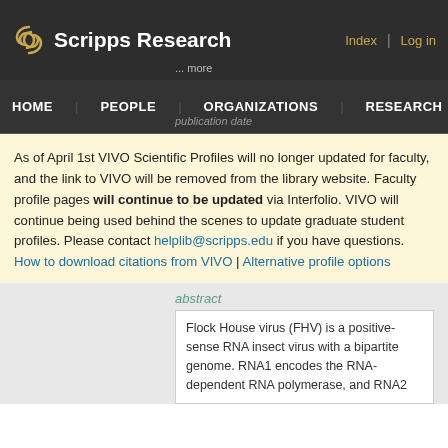[Figure (screenshot): Scripps Research website header with logo, navigation links (Index, Log in), and '... more' text]
HOME | PEOPLE | ORGANIZATIONS | RESEARCH | EV
As of April 1st VIVO Scientific Profiles will no longer updated for faculty, and the link to VIVO will be removed from the library website. Faculty profile pages will continue to be updated via Interfolio. VIVO will continue being used behind the scenes to update graduate student profiles. Please contact helplib@scripps.edu if you have questions.
How to download citations from VIVO | Alternative profile options
abstract
Flock House virus (FHV) is a positive-sense RNA insect virus with a bipartite genome. RNA1 encodes the RNA-dependent RNA polymerase, and RNA2